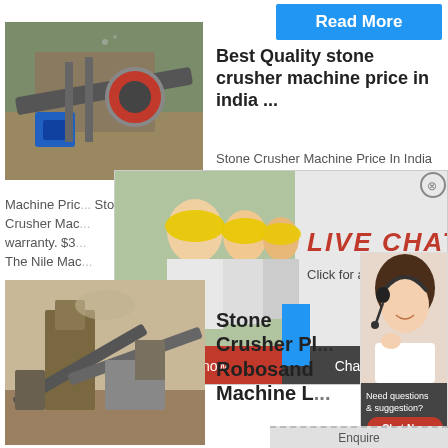[Figure (photo): Stone crusher machine in outdoor industrial setting with blue motor and red wheel]
Best Quality stone crusher machine price in india ...
[Figure (other): Read More button (blue)]
Stone Crusher Machine Price In India Stone Crusher
Machine Price... Stone Jaw Crusher Machine... warranty. $3... The Nile Mac...
[Figure (infographic): Live Chat popup with workers in hard hats, Chat now and Chat later buttons]
[Figure (photo): Customer support agent with headset (right sidebar)]
Hrs Online
Need questions & suggestion?
[Figure (photo): Stone crushing plant/machinery in outdoor setting]
Stone Crusher Plant Robosand Machine L...
Enquire